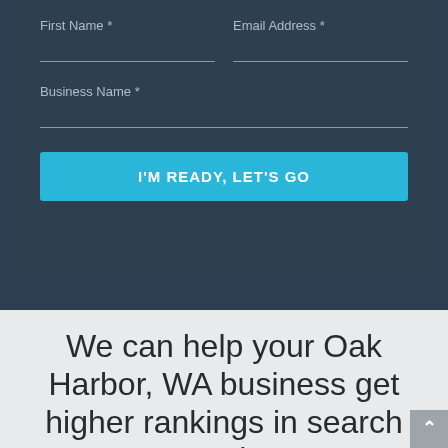First Name *
Email Address *
Business Name *
I'M READY, LET'S GO
We can help your Oak Harbor, WA business get higher rankings in search results